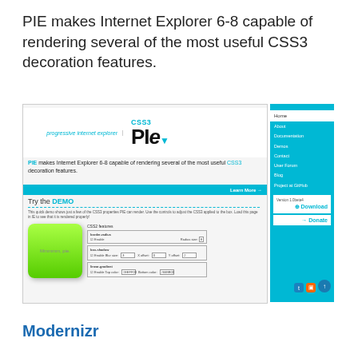PIE makes Internet Explorer 6-8 capable of rendering several of the most useful CSS3 decoration features.
[Figure (screenshot): Screenshot of the CSS3 PIE (progressive internet explorer) website showing logo, navigation menu, demo section with a green rounded box and CSS3 controls panel]
Modernizr